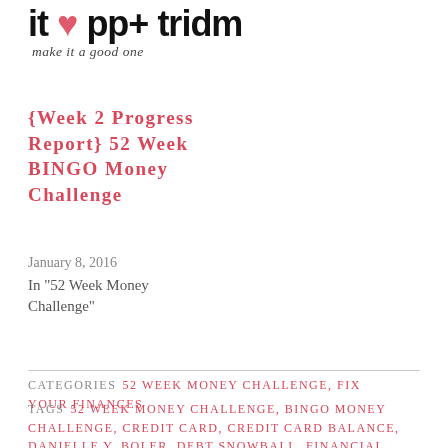it ♥ ppt tridin
make it a good one
{Week 2 Progress Report} 52 Week BINGO Money Challenge
January 8, 2016
In "52 Week Money Challenge"
CATEGORIES  52 WEEK MONEY CHALLENGE, FIX YOUR FINANCES
TAGS  52 WEEK MONEY CHALLENGE, BINGO MONEY CHALLENGE, CREDIT CARD, CREDIT CARD BALANCE, DANIELLE Y. BOLER, DEBT SNOWBALL, FINANCIAL GOALS, HOW TO PAY FOR A WEDDING, HOW TO PAY OFF STUDENT LOANS, SHE MAKES CENTS, STUDENT LOANS